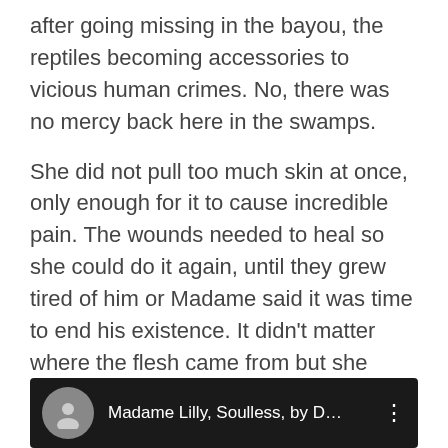after going missing in the bayou, the reptiles becoming accessories to vicious human crimes. No, there was no mercy back here in the swamps.
She did not pull too much skin at once, only enough for it to cause incredible pain. The wounds needed to heal so she could do it again, until they grew tired of him or Madame said it was time to end his existence. It didn’t matter where the flesh came from but she noticed the legs and back seemed to hurt the worst, so that was where she lingered while dancing around him and watching his body tremble in fear every time she laid a finger on him”
[Figure (screenshot): Video thumbnail with dark background showing a circular avatar icon and title text 'Madame Lilly, Soulless, by D...' with a three-dot menu icon on the right]